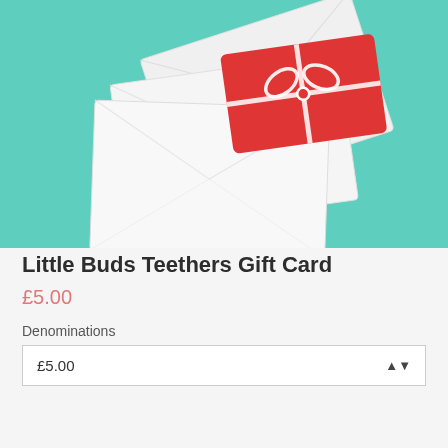[Figure (photo): Photo of white envelopes and a red gift card with a bow ribbon, on a teal/mint green background]
Little Buds Teethers Gift Card
£5.00
Denominations
£5.00